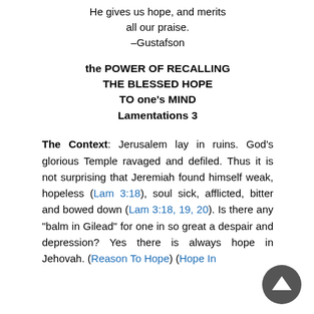He gives us hope, and merits all our praise.
–Gustafson
the POWER OF RECALLING THE BLESSED HOPE TO one's MIND
Lamentations 3
The Context: Jerusalem lay in ruins. God's glorious Temple ravaged and defiled. Thus it is not surprising that Jeremiah found himself weak, hopeless (Lam 3:18), soul sick, afflicted, bitter and bowed down (Lam 3:18, 19, 20). Is there any "balm in Gilead" for one in so great a despair and depression? Yes there is always hope in Jehovah. (Reason To Hope) (Hope In